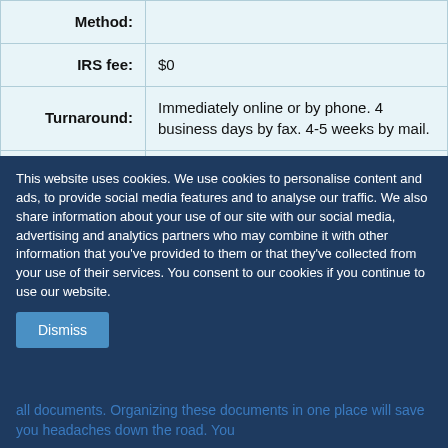| Label | Value |
| --- | --- |
| Method: |  |
| IRS fee: | $0 |
| Turnaround: | Immediately online or by phone. 4 business days by fax. 4-5 weeks by mail. |
| Notes: | The IRS website is only available during certain hours. Print your EIN before closing your session. For additional guidance, see IRS Pub 1635: Understanding Your EIN. |
This website uses cookies. We use cookies to personalise content and ads, to provide social media features and to analyse our traffic. We also share information about your use of our site with our social media, advertising and analytics partners who may combine it with other information that you've provided to them or that they've collected from your use of their services. You consent to our cookies if you continue to use our website.
Dismiss
all documents. Organizing these documents in one place will save you headaches down the road. You